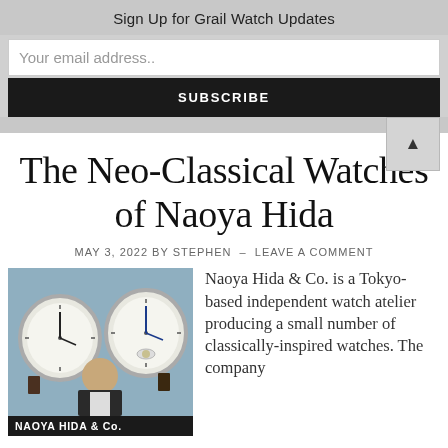Sign Up for Grail Watch Updates
Your email address..
SUBSCRIBE
The Neo-Classical Watches of Naoya Hida
MAY 3, 2022 BY STEPHEN — LEAVE A COMMENT
[Figure (photo): Photo of Naoya Hida surrounded by large watch displays, with caption bar reading NAOYA HIDA & Co.]
Naoya Hida & Co. is a Tokyo-based independent watch atelier producing a small number of classically-inspired watches. The company